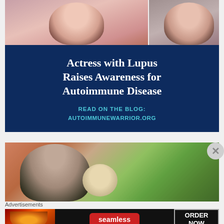[Figure (photo): Two photos of a young woman at the top — left shows her in a red/pink top from the neck up, right shows her from the side with dark hair]
Actress with Lupus Raises Awareness for Autoimmune Disease
READ ON THE BLOG:
AUTOIMMUNEWARRIOR.ORG
[Figure (photo): Selfie photo of a young woman with dark hair leaning against a stuffed animal, with a sunny garden visible in the background]
Advertisements
[Figure (other): Advertisement banner for Seamless food delivery with pizza image on left, red Seamless logo pill in center, and ORDER NOW button on right]